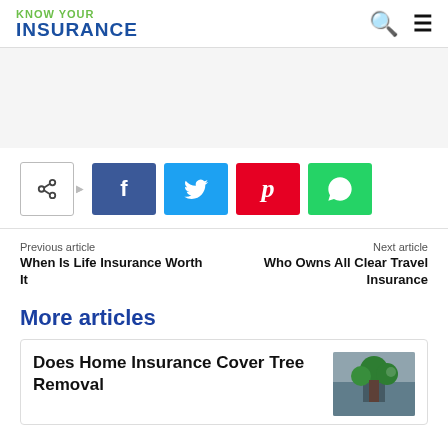KNOW YOUR INSURANCE
[Figure (other): Advertisement/banner area (blank gray)]
[Figure (infographic): Social share buttons: share icon outline, Facebook (f), Twitter (bird), Pinterest (p), WhatsApp (phone)]
Previous article
When Is Life Insurance Worth It
Next article
Who Owns All Clear Travel Insurance
More articles
Does Home Insurance Cover Tree Removal